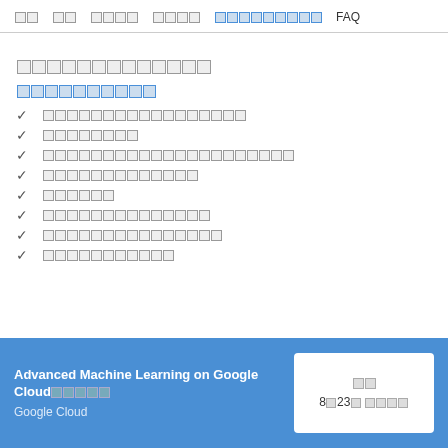□□  □□  □□□□  □□□□  □□□□□□□□□  FAQ
□□□□□□□□□□□□□
□□□□□□□□□□
✓ □□□□□□□□□□□□□□□
✓ □□□□□□□□
✓ □□□□□□□□□□□□□□□□□□□□□
✓ □□□□□□□□□□□□□
✓ □□□□□□
✓ □□□□□□□□□□□□□□
✓ □□□□□□□□□□□□□□□
✓ □□□□□□□□□□□
Advanced Machine Learning on Google Cloud□□□□□
Google Cloud
□□
8□23□ □□□□